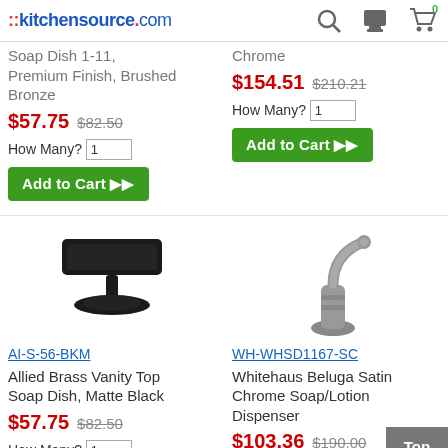::kitchensource.com
Soap Dish 1-11, Premium Finish, Brushed Bronze
$57.75 $82.50
How Many? 1
Add to Cart ▶▶
Chrome
$154.51 $210.21
How Many? 1
Add to Cart ▶▶
[Figure (photo): Black vanity top soap dish on pedestal base]
AI-S-56-BKM
Allied Brass Vanity Top Soap Dish, Matte Black
$57.75 $82.50
How Many? 1
[Figure (photo): Satin chrome soap/lotion dispenser with curved neck]
WH-WHSD1167-SC
Whitehaus Beluga Satin Chrome Soap/Lotion Dispenser
$103.36 $190.00